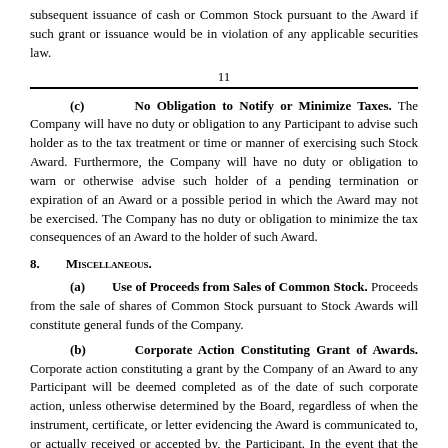subsequent issuance of cash or Common Stock pursuant to the Award if such grant or issuance would be in violation of any applicable securities law.
11
(c) No Obligation to Notify or Minimize Taxes. The Company will have no duty or obligation to any Participant to advise such holder as to the tax treatment or time or manner of exercising such Stock Award. Furthermore, the Company will have no duty or obligation to warn or otherwise advise such holder of a pending termination or expiration of an Award or a possible period in which the Award may not be exercised. The Company has no duty or obligation to minimize the tax consequences of an Award to the holder of such Award.
8. Miscellaneous.
(a) Use of Proceeds from Sales of Common Stock. Proceeds from the sale of shares of Common Stock pursuant to Stock Awards will constitute general funds of the Company.
(b) Corporate Action Constituting Grant of Awards. Corporate action constituting a grant by the Company of an Award to any Participant will be deemed completed as of the date of such corporate action, unless otherwise determined by the Board, regardless of when the instrument, certificate, or letter evidencing the Award is communicated to, or actually received or accepted by, the Participant. In the event that the corporate records (e.g., Board consents, resolutions or minutes) documenting the corporate action approving the grant contain terms (e.g., exercise price, vesting schedule or number of shares) that are inconsistent with those in the Award Agreement or related grant documents as a